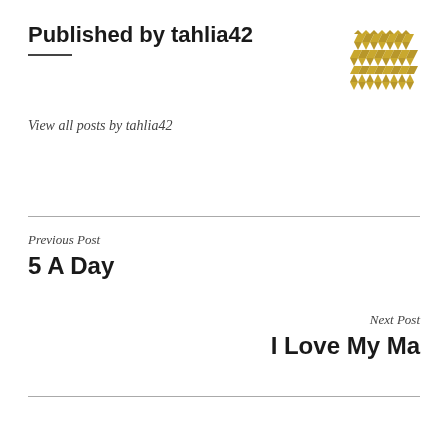Published by tahlia42
[Figure (logo): Decorative geometric diamond/cross pattern logo in gold/yellow color]
View all posts by tahlia42
Previous Post
5 A Day
Next Post
I Love My Ma